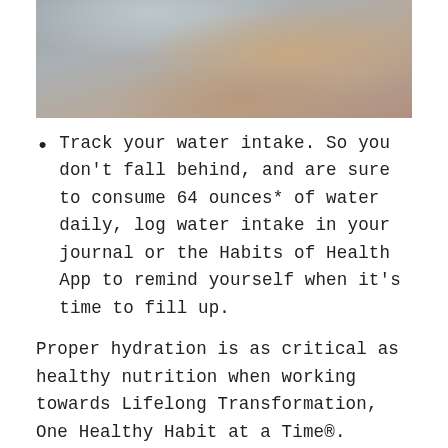[Figure (photo): Partial photo of a person, showing arm/shoulder area against a blurred background, cropped at top of page]
Track your water intake. So you don't fall behind, and are sure to consume 64 ounces* of water daily, log water intake in your journal or the Habits of Health App to remind yourself when it's time to fill up.
Proper hydration is as critical as healthy nutrition when working towards Lifelong Transformation, One Healthy Habit at a Time®. Connect with me, your Independent OPTAVIA Coach, to discuss other tips on staying hydrated on a daily basis!